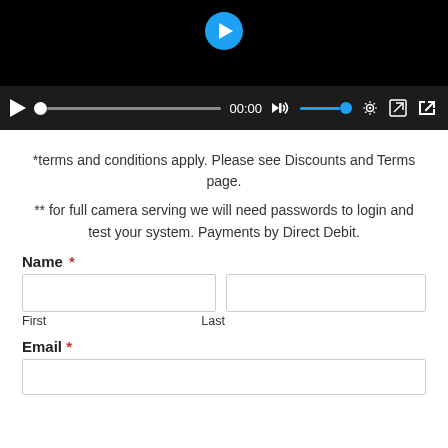[Figure (screenshot): Video player with black background, blue play button circle at top center, and control bar at bottom showing play button, progress bar with white dot, 00:00 timestamp, volume icon with blue volume bar, settings gear icon, share icon, and fullscreen icon.]
*terms and conditions apply. Please see Discounts and Terms page.
** for full camera serving we will need passwords to login and test your system. Payments by Direct Debit.
Name *
First
Last
Email *